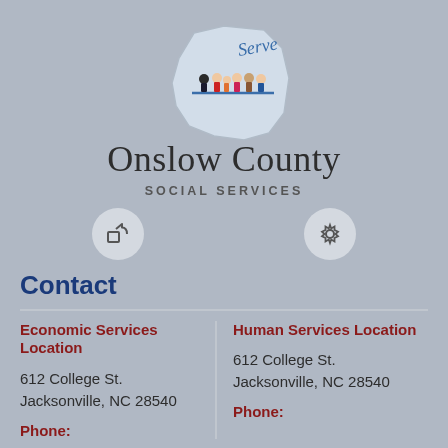[Figure (logo): Onslow County Social Services logo with county map shape and figures with 'Serve' text]
Onslow County
SOCIAL SERVICES
Contact
Economic Services Location
612 College St.
Jacksonville, NC 28540
Phone:
Human Services Location
612 College St.
Jacksonville, NC 28540
Phone: